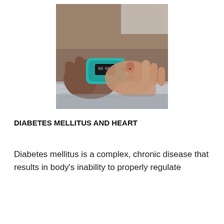[Figure (photo): Close-up photograph of two pairs of hands using a blood glucose meter. One hand is holding a teal/turquoise glucose monitor device while another hand's finger is being tested, with a test strip inserted into the device. Papers are visible in the background.]
DIABETES MELLITUS AND HEART
Diabetes mellitus is a complex, chronic disease that results in body's inability to properly regulate